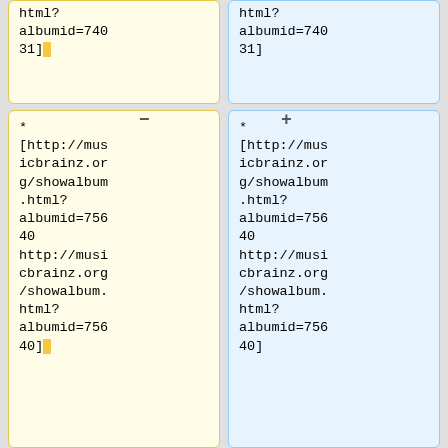html?
albumid=74031]
html?
albumid=74031]
* [http://musicbrainz.org/showalbum.html?albumid=75640 http://musicbrainz.org/showalbum.html?albumid=75640]
* [http://musicbrainz.org/showalbum.html?albumid=75640 http://musicbrainz.org/showalbum.html?albumid=75640]
* [http://musicbrainz.org/showalbum
* [http://musicbrainz.org/showalbum